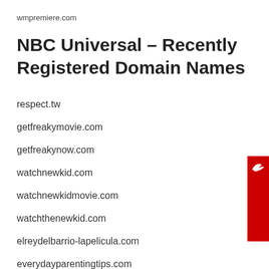wmpremiere.com
NBC Universal – Recently Registered Domain Names
respect.tw
getfreakymovie.com
getfreakynow.com
watchnewkid.com
watchnewkidmovie.com
watchthenewkid.com
elreydelbarrio-lapelicula.com
everydayparentingtips.com